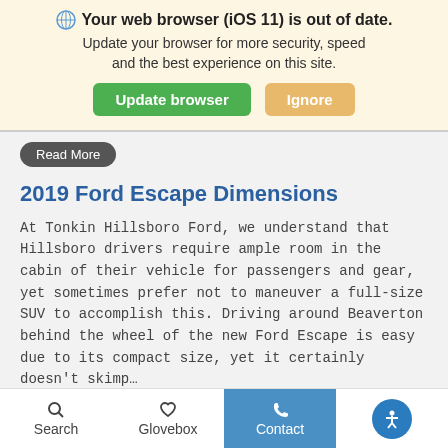🌐 Your web browser (iOS 11) is out of date. Update your browser for more security, speed and the best experience on this site.
Update browser | Ignore
Read More
2019 Ford Escape Dimensions
At Tonkin Hillsboro Ford, we understand that Hillsboro drivers require ample room in the cabin of their vehicle for passengers and gear, yet sometimes prefer not to maneuver a full-size SUV to accomplish this. Driving around Beaverton behind the wheel of the new Ford Escape is easy due to its compact size, yet it certainly doesn't skimp…
Read More
Search   Glovebox   Contact   (accessibility)